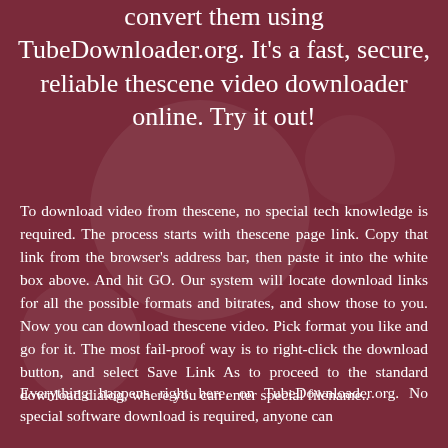convert them using TubeDownloader.org. It's a fast, secure, reliable thescene video downloader online. Try it out!
To download video from thescene, no special tech knowledge is required. The process starts with thescene page link. Copy that link from the browser's address bar, then paste it into the white box above. And hit GO. Our system will locate download links for all the possible formats and bitrates, and show those to you. Now you can download thescene video. Pick format you like and go for it. The most fail-proof way is to right-click the download button, and select Save Link As to proceed to the standard download dialog, where you can enter special filename..
Everything happens right here, on TubeDownloader.org. No special software download is required, anyone can